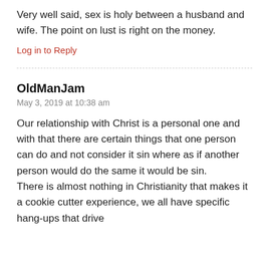Very well said, sex is holy between a husband and wife. The point on lust is right on the money.
Log in to Reply
OldManJam
May 3, 2019 at 10:38 am
Our relationship with Christ is a personal one and with that there are certain things that one person can do and not consider it sin where as if another person would do the same it would be sin.
There is almost nothing in Christianity that makes it a cookie cutter experience, we all have specific hang-ups that drive